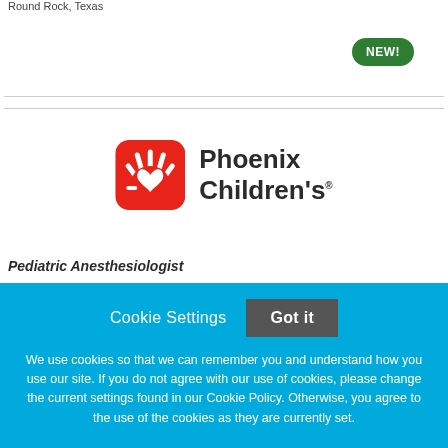Round Rock, Texas
[Figure (logo): NEW! badge - green rounded pill button with white bold text]
[Figure (logo): Phoenix Children's logo with red rounded square hand icon and dark bold text 'Phoenix Children's']
Pediatric Anesthesiologist
Cookie Settings  Got it
We use cookies so that we can remember you and understand how you use our site. If you do not agree with our use of cookies, please change the current settings found in our Cookie Policy. Otherwise, you agree to the use of the cookies as they are currently set.